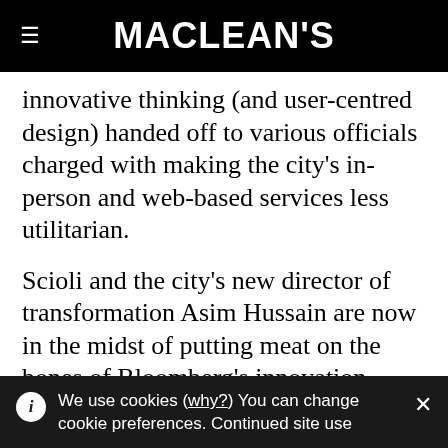MACLEAN'S
innovative thinking (and user-centred design) handed off to various officials charged with making the city's in-person and web-based services less utilitarian.
Scioli and the city's new director of transformation Asim Hussain are now in the midst of putting meat on the bones of Bloomberg's innovation imperative, which entails unsexy activities like purchasing a giant customer-relationships management
We use cookies (why?) You can change cookie preferences. Continued site use